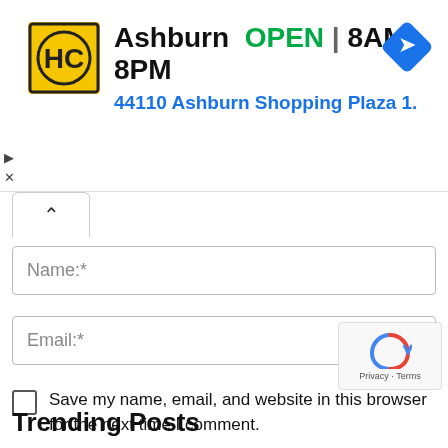[Figure (other): Advertisement banner for HC (Heilind/Hardware store) in Ashburn showing logo, OPEN status, hours 8AM-8PM, address 44110 Ashburn Shopping Plaza 1., and navigation icon]
Name:*
Email:*
Save my name, email, and website in this browser for the next time I comment.
POST COMMENT
[Figure (other): reCAPTCHA badge with recycling arrow icon and Privacy - Terms text]
Trending Posts